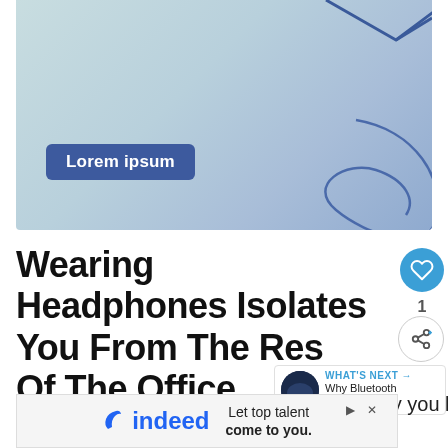[Figure (illustration): A light blue-green gradient hero banner with blue decorative line art curves and a 'Lorem ipsum' dark blue rounded button label in the bottom left area.]
Wearing Headphones Isolates You From The Rest Of The Office
While your colleagues may understand why you listen to music at work and how it helps
[Figure (screenshot): Indeed advertisement banner: indeed logo on left with curved i, text 'Let top talent come to you.' on right, with play and close buttons.]